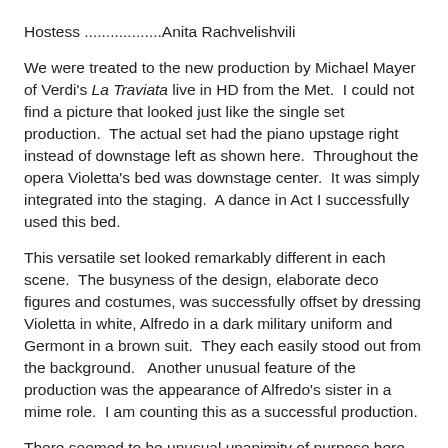Hostess ..................Anita Rachvelishvili
We were treated to the new production by Michael Mayer of Verdi's La Traviata live in HD from the Met.  I could not find a picture that looked just like the single set production.  The actual set had the piano upstage right instead of downstage left as shown here.  Throughout the opera Violetta's bed was downstage center.  It was simply integrated into the staging.  A dance in Act I successfully used this bed.
This versatile set looked remarkably different in each scene.  The busyness of the design, elaborate deco figures and costumes, was successfully offset by dressing Violetta in white, Alfredo in a dark military uniform and Germont in a brown suit.  They each easily stood out from the background.   Another unusual feature of the production was the appearance of Alfredo's sister in a mime role.  I am counting this as a successful production.
There seemed to be unusual unanimity of purpose here.  Much complaining appeared concerning Juan Diego's light